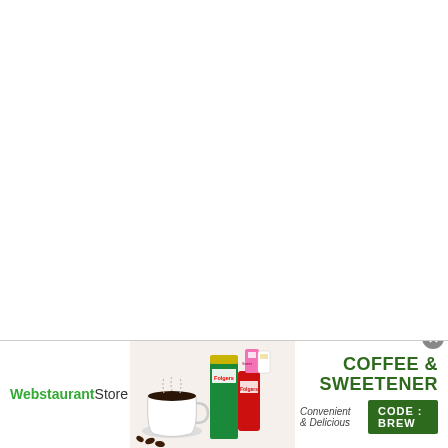[Figure (illustration): Advertisement banner for WebstaurantStore Coffee & Sweetener promotion. Shows logo on left, coffee products image in middle (Folgers coffee jars, coffee cup, coffee beans, sweetener packets), and promotional text on right: 'COFFEE & SWEETENER', 'Convenient & Delicious', 'CODE: BREW' button. Close button (X) in top-right corner.]